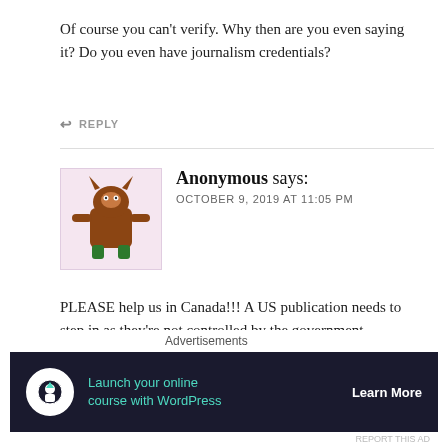Of course you can't verify. Why then are you even saying it? Do you even have journalism credentials?
↩ REPLY
Anonymous says: OCTOBER 9, 2019 AT 11:05 PM
PLEASE help us in Canada!!! A US publication needs to step in as they're not controlled by the government
↩ REPLY
Advertisements
[Figure (screenshot): Advertisement banner: Launch your online course with WordPress — Learn More]